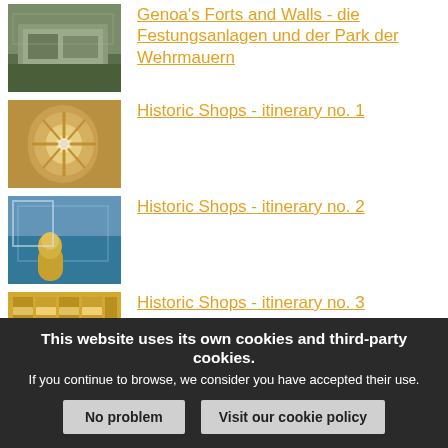[Figure (photo): Aerial view of Genoa's stone fortress/fort walls on a hillside]
Genoa's Forts and Walls - die Festungsanlagen und der Park der Wehrmauern
[Figure (photo): Interior ornate ceiling with gold decorative circular motif and chandelier]
Historic Shops - itinerary no. 1
[Figure (photo): Shop interior with glass facade, city reflection, gold statue figure]
Historic Shops - itinerary no. 2
[Figure (photo): Historic shop interior with shelves of bottles and warm golden lighting]
Historic Shops - itinerary no. 3
This website uses its own cookies and third-party cookies.
If you continue to browse, we consider you have accepted their use.